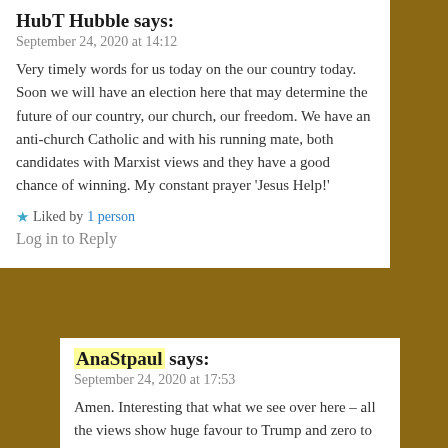HubT Hubble says:
September 24, 2020 at 14:12
Very timely words for us today on the our country today. Soon we will have an election here that may determine the future of our country, our church, our freedom. We have an anti-church Catholic and with his running mate, both candidates with Marxist views and they have a good chance of winning. My constant prayer 'Jesus Help!'
★ Liked by 1 person
Log in to Reply
AnaStpaul says:
September 24, 2020 at 17:53
Amen. Interesting that what we see over here – all the views show huge favour to Trump and zero to Biden – who to me is a like a "dead man walking" – personally, just hearing him it seems impossible